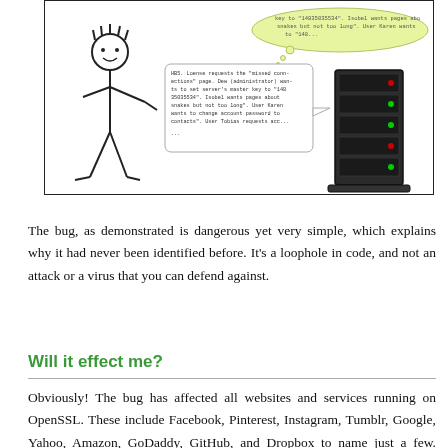[Figure (illustration): Comic-style illustration showing a stick figure person talking about 'missed connections' page, server settings, and various user requests including references to a master key '14835035534', Isobel wanting pages about snakes but not too long, User Karen wanting to change account password. A thought bubble shows 'key to 14835035534', 'Isobel wants pages about snakes but not too long', 'User Karen wants...'. A server rack with green and red indicator lights is shown on the right.]
The bug, as demonstrated is dangerous yet very simple, which explains why it had never been identified before. It's a loophole in code, and not an attack or a virus that you can defend against.
Will it effect me?
Obviously! The bug has affected all websites and services running on OpenSSL. These include Facebook, Pinterest, Instagram, Tumblr, Google, Yahoo, Amazon, GoDaddy, GitHub, and Dropbox to name just a few. Many of these websites have already addressed the vulnerability with a patch.